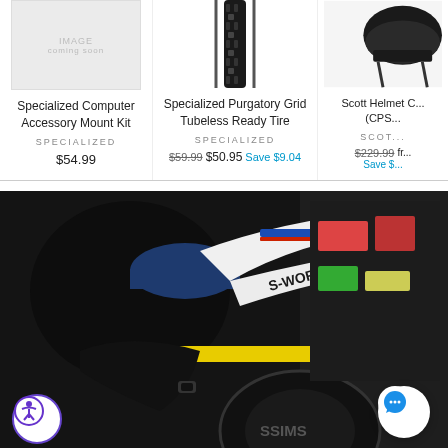[Figure (photo): Placeholder image box for Specialized Computer Accessory Mount Kit, light gray background with 'IMAGE coming soon' text]
Specialized Computer Accessory Mount Kit
SPECIALIZED
$54.99
[Figure (photo): Product image of Specialized Purgatory Grid Tubeless Ready Tire, showing black tire tread close-up]
Specialized Purgatory Grid Tubeless Ready Tire
SPECIALIZED
$59.99  $50.95  Save $9.04
[Figure (photo): Partially visible product image of Scott Helmet (CPS...), dark bicycle helmet]
Scott Helmet C... (CPS...)
SCOT...
$229.99  fr...  Save $...
[Figure (photo): Photo of a bike shop mechanic in a blue cap working on a white S-Works branded road bicycle with tools, various cycling products visible in background. Accessibility and chat overlay buttons visible.]